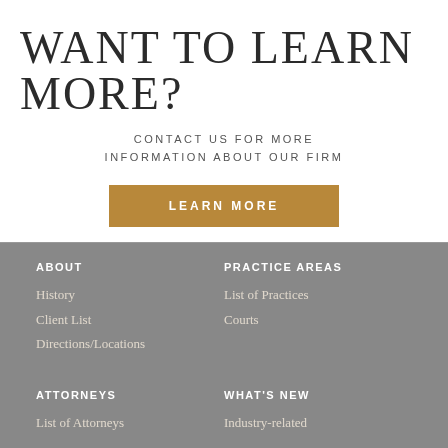WANT TO LEARN MORE?
CONTACT US FOR MORE INFORMATION ABOUT OUR FIRM
LEARN MORE
ABOUT
History
Client List
Directions/Locations
PRACTICE AREAS
List of Practices
Courts
ATTORNEYS
List of Attorneys
WHAT'S NEW
Industry-related